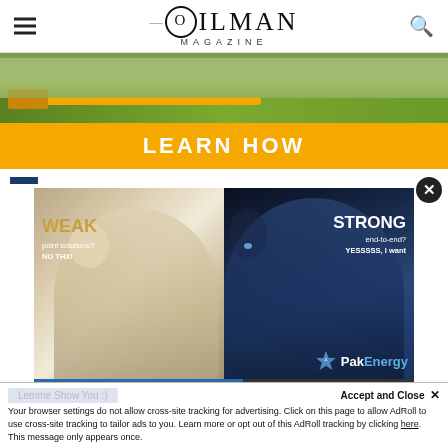OILMAN MAGAZINE
[Figure (photo): Advertisement banner with outdoor pipeline/machinery image and orange 'LEARN HOW' button]
[Figure (photo): PakEnergy advertisement showing split wolf image - left half white wolf with text 'WEAK point solutions? NO THX!', right half dark blue wolf with text 'STRONG end-to-end? YESSSSS, I want' and PakEnergy logo]
Your browser settings do not allow cross-site tracking for advertising. Click on this page to allow AdRoll to use cross-site tracking to tailor ads to you. Learn more or opt out of this AdRoll tracking by clicking here. This message only appears once.